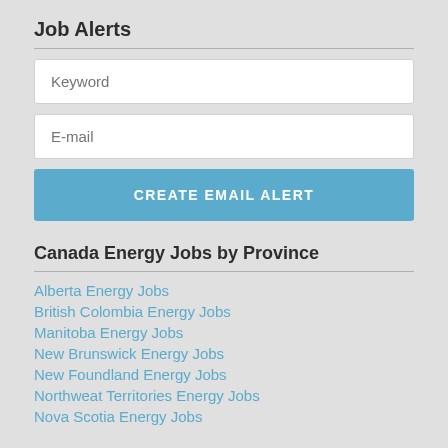Job Alerts
Keyword
E-mail
CREATE EMAIL ALERT
Canada Energy Jobs by Province
Alberta Energy Jobs
British Colombia Energy Jobs
Manitoba Energy Jobs
New Brunswick Energy Jobs
New Foundland Energy Jobs
Northweat Territories Energy Jobs
Nova Scotia Energy Jobs